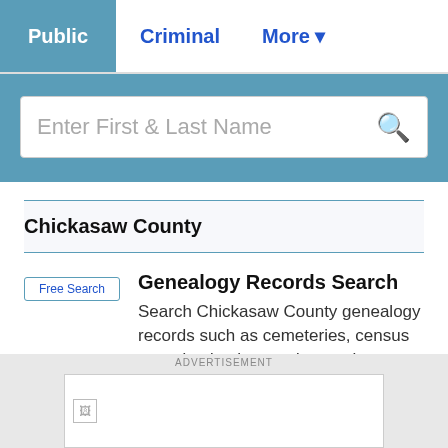Public | Criminal | More
[Figure (screenshot): Search input box with placeholder 'Enter First & Last Name' and a search icon]
Chickasaw County
Free Search — Genealogy Records Search: Search Chickasaw County genealogy records such as cemeteries, census records, death records, marriage records, obituaries, and more.
Contact Info — Marriage Licenses, Birth, Death and Marriage
[Figure (screenshot): Advertisement banner with broken image icon]